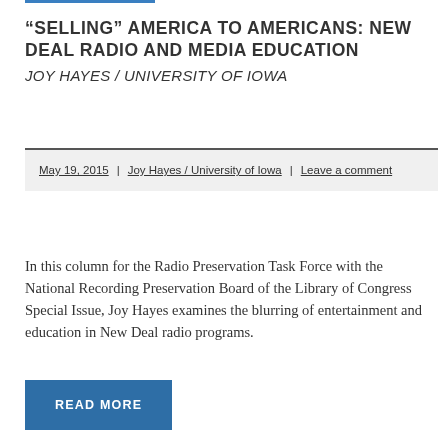“SELLING” AMERICA TO AMERICANS: NEW DEAL RADIO AND MEDIA EDUCATION JOY HAYES / UNIVERSITY OF IOWA
May 19, 2015 | Joy Hayes / University of Iowa | Leave a comment
In this column for the Radio Preservation Task Force with the National Recording Preservation Board of the Library of Congress Special Issue, Joy Hayes examines the blurring of entertainment and education in New Deal radio programs.
READ MORE